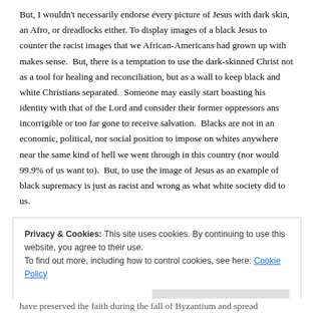But, I wouldn't necessarily endorse every picture of Jesus with dark skin, an Afro, or dreadlocks either. To display images of a black Jesus to counter the racist images that we African-Americans had grown up with makes sense.  But, there is a temptation to use the dark-skinned Christ not as a tool for healing and reconciliation, but as a wall to keep black and white Christians separated.  Someone may easily start boasting his identity with that of the Lord and consider their former oppressors ans incorrigible or too far gone to receive salvation.  Blacks are not in an economic, political, nor social position to impose on whites anywhere near the same kind of hell we went through in this country (nor would 99.9% of us want to).  But, to use the image of Jesus as an example of black supremacy is just as racist and wrong as what white society did to us.
Privacy & Cookies: This site uses cookies. By continuing to use this website, you agree to their use.
To find out more, including how to control cookies, see here: Cookie Policy
have preserved the faith during the fall of Byzantium and spread